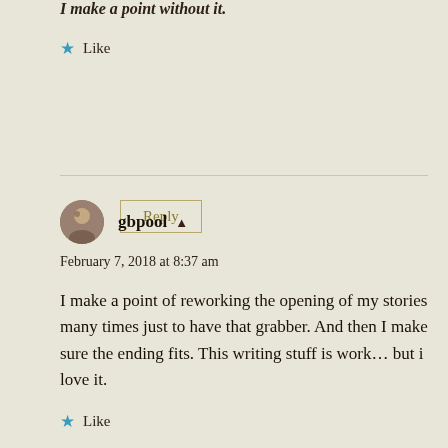I make a point of reworking the opening of my stories many times just to have that grabber. And then I make sure the ending fits. This writing stuff is work… but i love it.
February 7, 2018 at 8:37 am
gbpool
Like
Reply